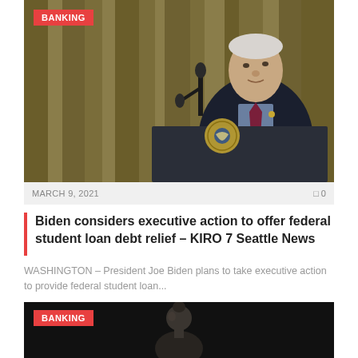[Figure (photo): President Joe Biden standing at a podium with the Presidential seal, speaking, wearing a dark suit and burgundy tie, gold curtains in background. Red label 'BANKING' in top left corner.]
MARCH 9, 2021
Biden considers executive action to offer federal student loan debt relief – KIRO 7 Seattle News
WASHINGTON – President Joe Biden plans to take executive action to provide federal student loan...
[Figure (photo): Partial view of a person on dark background with red 'BANKING' label in top left corner.]